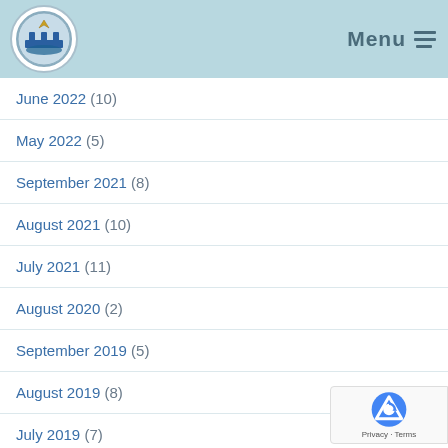Menu
June 2022 (10)
May 2022 (5)
September 2021 (8)
August 2021 (10)
July 2021 (11)
August 2020 (2)
September 2019 (5)
August 2019 (8)
July 2019 (7)
June 2019 (11)